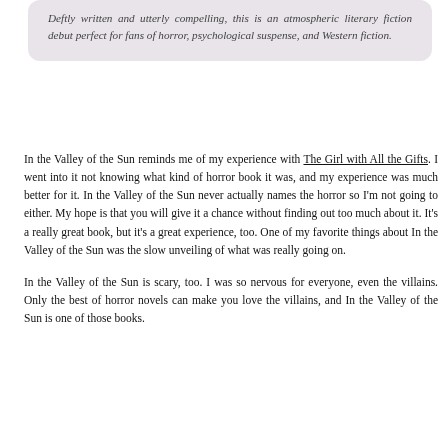Deftly written and utterly compelling, this is an atmospheric literary fiction debut perfect for fans of horror, psychological suspense, and Western fiction.
In the Valley of the Sun reminds me of my experience with The Girl with All the Gifts. I went into it not knowing what kind of horror book it was, and my experience was much better for it. In the Valley of the Sun never actually names the horror so I'm not going to either. My hope is that you will give it a chance without finding out too much about it. It's a really great book, but it's a great experience, too. One of my favorite things about In the Valley of the Sun was the slow unveiling of what was really going on.
In the Valley of the Sun is scary, too. I was so nervous for everyone, even the villains. Only the best of horror novels can make you love the villains, and In the Valley of the Sun is one of those books.